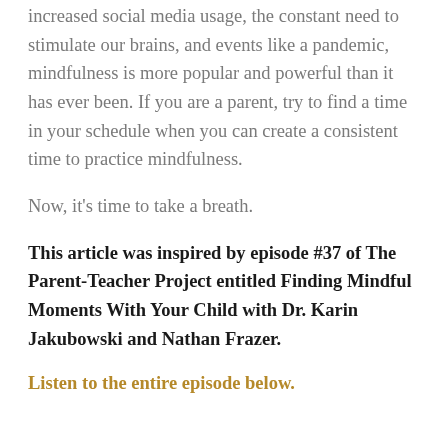increased social media usage, the constant need to stimulate our brains, and events like a pandemic, mindfulness is more popular and powerful than it has ever been. If you are a parent, try to find a time in your schedule when you can create a consistent time to practice mindfulness.
Now, it's time to take a breath.
This article was inspired by episode #37 of The Parent-Teacher Project entitled Finding Mindful Moments With Your Child with Dr. Karin Jakubowski and Nathan Frazer.
Listen to the entire episode below.